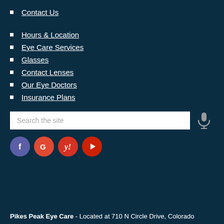Contact Us
Hours & Location
Eye Care Services
Glasses
Contact Lenses
Our Eye Doctors
Insurance Plans
Search the site
Pikes Peak Eye Care - Located at 710 N Circle Drive, Colorado